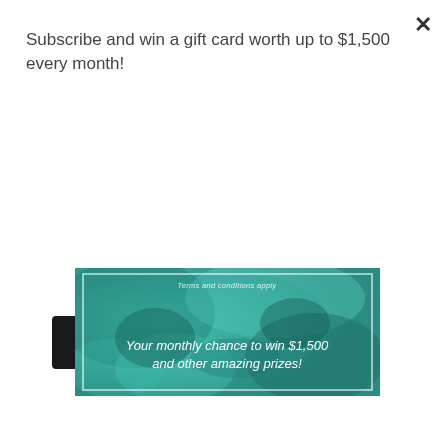Subscribe and win a gift card worth up to $1,500 every month!
Subscribe
[Figure (illustration): Teal/green abstract textured banner image with white border, containing italic white text: 'Terms and conditions apply' at top and 'Your monthly chance to win $1,500 and other amazing prizes!' in the center-lower area.]
×